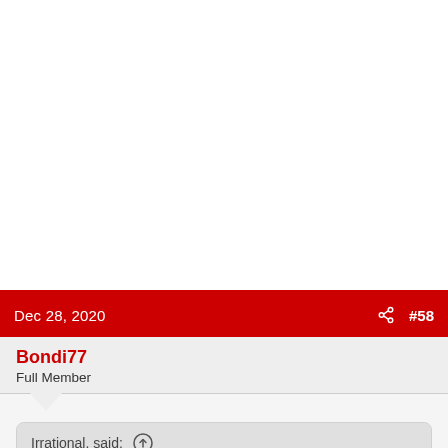Dec 28, 2020  #58
Bondi77
Full Member
Irrational. said: ↑
Do snakes live in kennels?